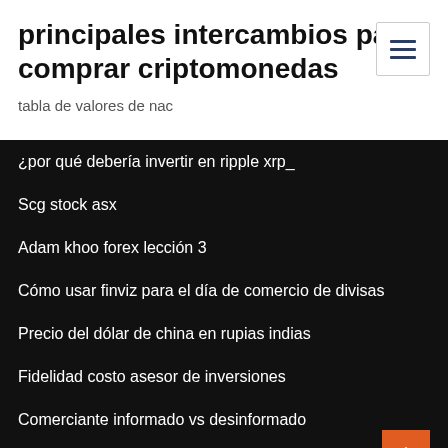principales intercambios para comprar criptomonedas
tabla de valores de nac
¿por qué debería invertir en ripple xrp_
Scg stock asx
Adam khoo forex lección 3
Cómo usar finviz para el día de comercio de divisas
Precio del dólar de china en rupias indias
Fidelidad costo asesor de inversiones
Comerciante informado vs desinformado
Mejores robo advisors para la jubilación